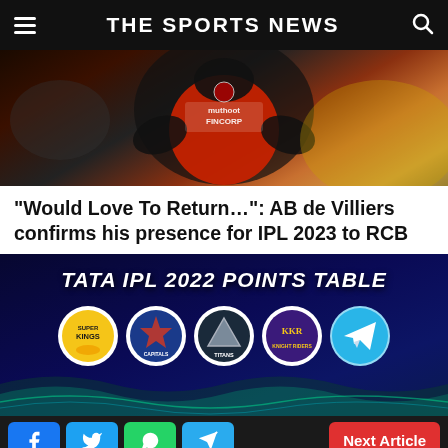THE SPORTS NEWS
[Figure (photo): Cricket player wearing RCB jersey with Muthoot Fincorp sponsor logo, red and black kit]
“Would Love To Return…”: AB de Villiers confirms his presence for IPL 2023 to RCB
[Figure (infographic): TATA IPL 2022 Points Table banner with team logos including Chennai Super Kings, Delhi Capitals, Gujarat Titans, Kolkata Knight Riders, and Telegram icon]
Social share buttons: Facebook, Twitter, WhatsApp, Telegram | Next Article